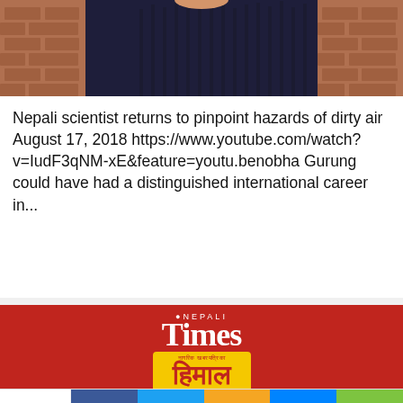[Figure (photo): Partial photo of a person in dark clothing against a brick wall background, cropped to show upper torso/neck area]
Nepali scientist returns to pinpoint hazards of dirty air August 17, 2018 https://www.youtube.com/watch?v=IudF3qNM-xE&feature=youtu.benobha Gurung could have had a distinguished international career in...
[Figure (logo): Nepali Times logo in white on red background, with 'NEPALI' in small text above large 'Times' in serif font]
[Figure (logo): Himal Khabarpatrika logo in red Devanagari text on yellow badge background]
527 Shares